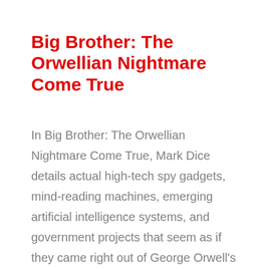Big Brother: The Orwellian Nightmare Come True
In Big Brother: The Orwellian Nightmare Come True, Mark Dice details actual high-tech spy gadgets, mind-reading machines, emerging artificial intelligence systems, and government projects that seem as if they came right out of George Orwell's novel Nineteen Eighty-Four.